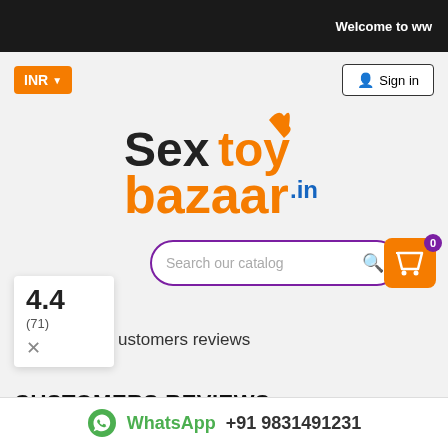Welcome to ww
INR
Sign in
[Figure (logo): SexToyBazaar.in logo with orange and black text]
Search our catalog
0
4.4
(71)
ustomers reviews
CUSTOMERS REVIEWS
There are 71 reviews.
WhatsApp +91 9831491231